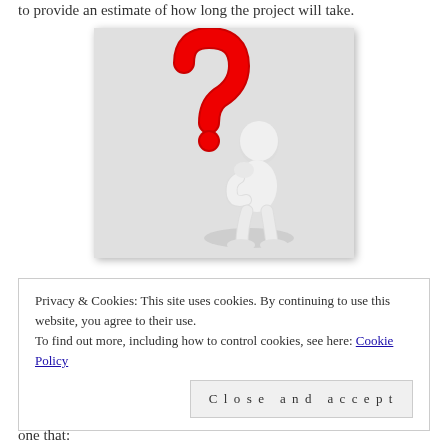to provide an estimate of how long the project will take.
[Figure (illustration): 3D illustration of a white faceless figure standing next to a large red question mark, appearing to be thinking or pondering.]
Privacy & Cookies: This site uses cookies. By continuing to use this website, you agree to their use.
To find out more, including how to control cookies, see here: Cookie Policy

Close and accept
one that: